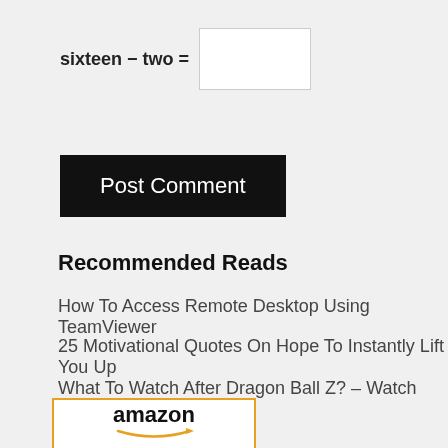Post Comment
Recommended Reads
How To Access Remote Desktop Using TeamViewer
25 Motivational Quotes On Hope To Instantly Lift You Up
What To Watch After Dragon Ball Z? – Watch Order & Updates
[Figure (other): Amazon product advertisement box showing the Amazon logo with orange arrow and a product image (white and black device)]